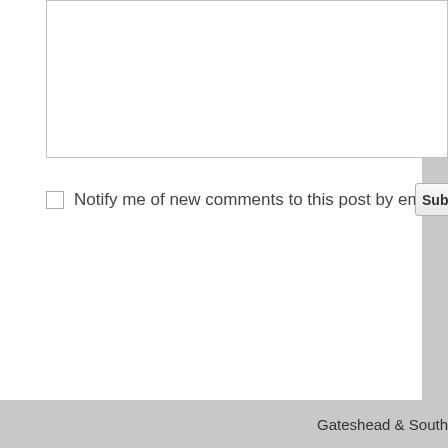[Figure (screenshot): Partial view of a web comment form with a textarea input box at the top, a checkbox labeled 'Notify me of new comments to this post by email', and a partially visible Submit button on the right.]
Notify me of new comments to this post by email
Gateshead & South